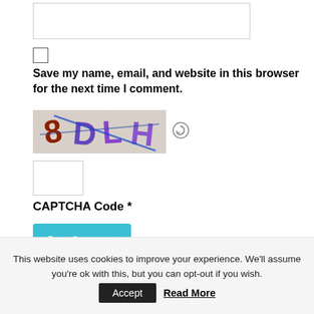[Figure (screenshot): A text input box (website field) partially visible at the top of the page]
[Figure (screenshot): A checkbox (unchecked) for saving name, email, and website]
Save my name, email, and website in this browser for the next time I comment.
[Figure (other): CAPTCHA image showing distorted characters '8DLH' with a refresh/reload icon next to it]
[Figure (screenshot): A small input box for entering CAPTCHA code]
CAPTCHA Code *
[Figure (screenshot): Post Comment button (teal/cyan colored)]
This website uses cookies to improve your experience. We'll assume you're ok with this, but you can opt-out if you wish.
Accept  Read More